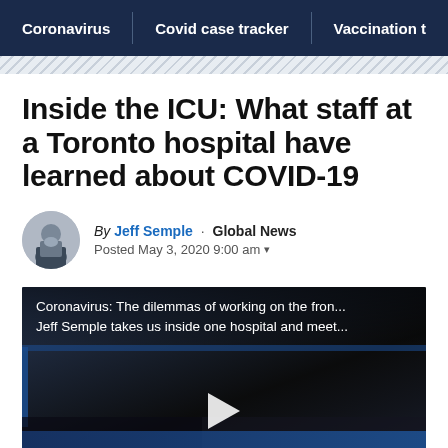Coronavirus | Covid case tracker | Vaccination t
Inside the ICU: What staff at a Toronto hospital have learned about COVID-19
By Jeff Semple · Global News
Posted May 3, 2020 9:00 am
[Figure (screenshot): Video thumbnail showing a dimly lit hospital ICU scene with medical equipment and blue horizontal bar. Caption reads: 'Coronavirus: The dilemmas of working on the fron... Jeff Semple takes us inside one hospital and meet...' with a play button overlay.]